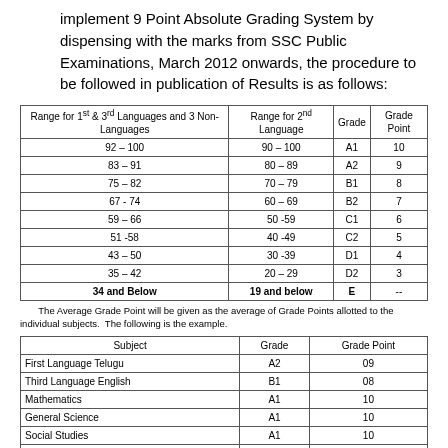implement 9 Point Absolute Grading System by dispensing with the marks from SSC Public Examinations, March 2012 onwards, the procedure to be followed in publication of Results is as follows:
| Range for 1st & 3rd Languages and 3 Non-Languages | Range for 2nd Language | Grade | Grade Point |
| --- | --- | --- | --- |
| 92 – 100 | 90 – 100 | A1 | 10 |
| 83 – 91 | 80 – 89 | A2 | 9 |
| 75 – 82 | 70 – 79 | B1 | 8 |
| 67 - 74 | 60 – 69 | B2 | 7 |
| 59 – 66 | 50 -59 | C1 | 6 |
| 51 -58 | 40 -49 | C2 | 5 |
| 43 – 50 | 30 -39 | D1 | 4 |
| 35 – 42 | 20 – 29 | D2 | 3 |
| 34 and Below | 19 and below | E | -- |
The Average Grade Point will be given as the average of Grade Points allotted to the individual subjects. The following is the example.
| Subject | Grade | Grade Point |
| --- | --- | --- |
| First Language Telugu | A2 | 09 |
| Third Language English | B1 | 08 |
| Mathematics | A1 | 10 |
| General Science | A1 | 10 |
| Social Studies | A1 | 10 |
| Second Language Hindi | A1 | 10 |
| 09+08+10+10+10+10=57/6=9.5 (Average Grade Point) |  |  |